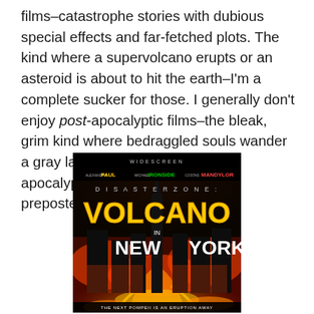films–catastrophe stories with dubious special effects and far-fetched plots. The kind where a supervolcano erupts or an asteroid is about to hit the earth–I'm a complete sucker for those. I generally don't enjoy post-apocalyptic films–the bleak, grim kind where bedraggled souls wander a gray landscape–but I adore an apocalypse as it unfolds–the more preposterously, the better.
[Figure (photo): Movie poster for 'Disaster Zone: Volcano in New York' (Widescreen edition). Shows actors Alexandra Paul, Michael Ironside, and Costas Mandylor credited at top. Large fiery text reads 'DISASTER ZONE: VOLCANO IN NEW YORK' over an image of New York City being destroyed by volcanic eruption with lava and fire. Tagline at bottom: 'THE NEXT POMPEII IS AN ERUPTION AWAY'.]